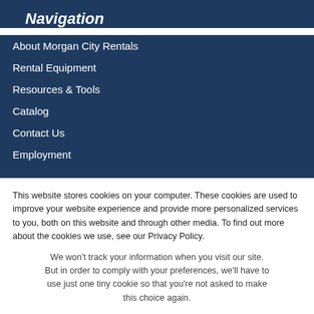Navigation
About Morgan City Rentals
Rental Equipment
Resources & Tools
Catalog
Contact Us
Employment
This website stores cookies on your computer. These cookies are used to improve your website experience and provide more personalized services to you, both on this website and through other media. To find out more about the cookies we use, see our Privacy Policy.
We won't track your information when you visit our site. But in order to comply with your preferences, we'll have to use just one tiny cookie so that you're not asked to make this choice again.
Accept
Decline